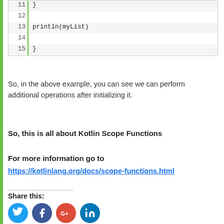[Figure (screenshot): Code block showing lines 11-15 of Kotlin code: line 11 has closing brace, line 12 is blank, line 13 has println(myList), line 14 is blank, line 15 has closing brace]
So, in the above example, you can see we can perform additional operations after initializing it.
So, this is all about Kotlin Scope Functions
For more information go to
https://kotlinlang.org/docs/scope-functions.html
Share this:
[Figure (illustration): Social media share icons: Twitter (blue bird), Facebook (blue f), Google+ (red G+), LinkedIn (blue in)]